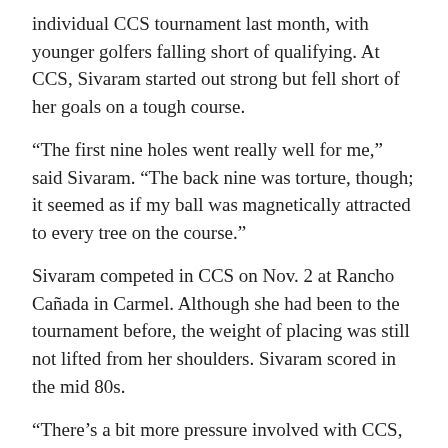individual CCS tournament last month, with younger golfers falling short of qualifying. At CCS, Sivaram started out strong but fell short of her goals on a tough course.
“The first nine holes went really well for me,” said Sivaram. “The back nine was torture, though; it seemed as if my ball was magnetically attracted to every tree on the course.”
Sivaram competed in CCS on Nov. 2 at Rancho Cañada in Carmel. Although she had been to the tournament before, the weight of placing was still not lifted from her shoulders. Sivaram scored in the mid 80s.
“There’s a bit more pressure involved with CCS, especially since every single stroke will mean a lot more,” said Sivaram. “I [was] a bit nervous, but I’ve gone to CCS twice before, and I [knew] the course. I [knew I would] be OK.”
In the weeks leading up to the final tournament, Sivaram worked on her swing.
“I’m playing a little more conservatively,” said Sivaram. “The game is ultimately about scoring, so there’s really no reason to